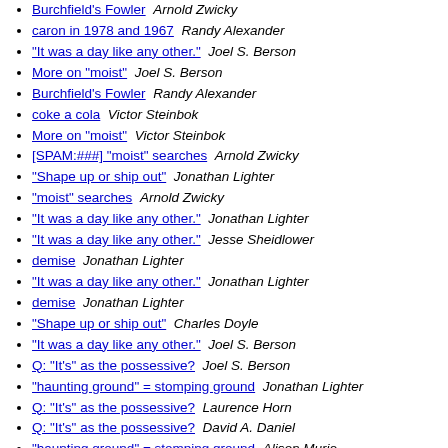Burchfield's Fowler  Arnold Zwicky
caron in 1978 and 1967  Randy Alexander
"It was a day like any other."  Joel S. Berson
More on "moist"  Joel S. Berson
Burchfield's Fowler  Randy Alexander
coke a cola  Victor Steinbok
More on "moist"  Victor Steinbok
[SPAM:###] "moist" searches  Arnold Zwicky
"Shape up or ship out"  Jonathan Lighter
"moist" searches  Arnold Zwicky
"It was a day like any other."  Jonathan Lighter
"It was a day like any other."  Jesse Sheidlower
demise  Jonathan Lighter
"It was a day like any other."  Jonathan Lighter
demise  Jonathan Lighter
"Shape up or ship out"  Charles Doyle
"It was a day like any other."  Joel S. Berson
Q: "It's" as the possessive?  Joel S. Berson
"haunting ground" = stomping ground  Jonathan Lighter
Q: "It's" as the possessive?  Laurence Horn
Q: "It's" as the possessive?  David A. Daniel
"haunting ground" = stomping ground  Alison Murie
"haunting ground" = stomping ground  Kari Castor
waxing _______________?  Victor Steinbok
Q: "It's" as the possessive?  Arnold Zwicky
Q: "It's" as the possessive?  Wilson G...